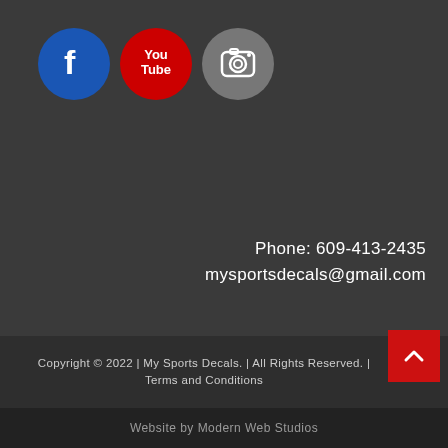[Figure (logo): Three social media icons: Facebook (blue circle with white 'f'), YouTube (red circle with white 'You Tube' text), Instagram (gray circle with white camera icon)]
Phone: 609-413-2435
mysportsdecals@gmail.com
Copyright © 2022 | My Sports Decals. | All Rights Reserved. | Terms and Conditions
Website by Modern Web Studios